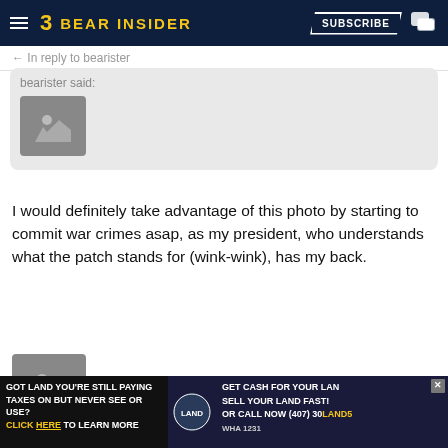BEAR INSIDER — SUBSCRIBE
← In reply to bearister
bearister said: [image placeholder]
I would definitely take advantage of this photo by starting to commit war crimes asap, as my president, who understands what the patch stands for (wink-wink), has my back.
[Figure (photo): Image placeholder icon]
1 edit    1 ★ ↩ ❝ …
B.A. Bearacus  L    4:31p, 5/29/19
1 edit    ★ ↩ ❝ …
[Figure (photo): Advertisement banner: GOT LAND YOU'RE STILL PAYING TAXES ON BUT NEVER SEE OR USE? CLICK HERE TO LEARN MORE | GET CASH FOR YOUR LAND SELL YOUR LAND FAST! Or Call Now (407) 30LAND5]